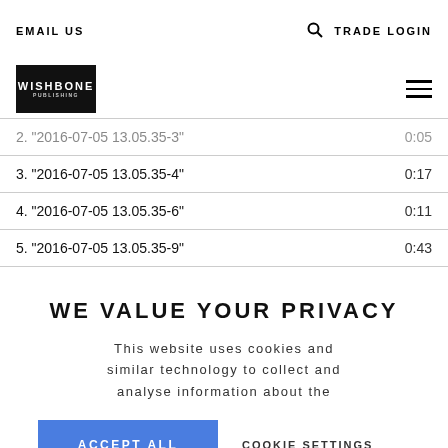EMAIL US  TRADE LOGIN
[Figure (logo): Wishbone Publishing logo — black rectangular box with white grunge-style text]
| Track | Duration |
| --- | --- |
| 2. "2016-07-05 13.05.35-3" | 0:05 |
| 3. "2016-07-05 13.05.35-4" | 0:17 |
| 4. "2016-07-05 13.05.35-6" | 0:11 |
| 5. "2016-07-05 13.05.35-9" | 0:43 |
WE VALUE YOUR PRIVACY
This website uses cookies and similar technology to collect and analyse information about the
ACCEPT ALL   COOKIE SETTINGS